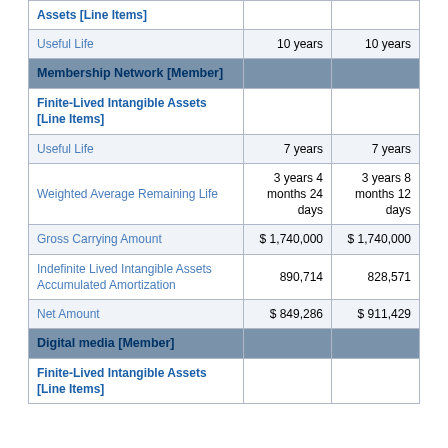|  | Col1 | Col2 |
| --- | --- | --- |
| Assets [Line Items] |  |  |
| Useful Life | 10 years | 10 years |
| Membership Network [Member] |  |  |
| Finite-Lived Intangible Assets [Line Items] |  |  |
| Useful Life | 7 years | 7 years |
| Weighted Average Remaining Life | 3 years 4 months 24 days | 3 years 8 months 12 days |
| Gross Carrying Amount | $ 1,740,000 | $ 1,740,000 |
| Indefinite Lived Intangible Assets Accumulated Amortization | 890,714 | 828,571 |
| Net Amount | $ 849,286 | $ 911,429 |
| Digital media [Member] |  |  |
| Finite-Lived Intangible Assets [Line Items] |  |  |